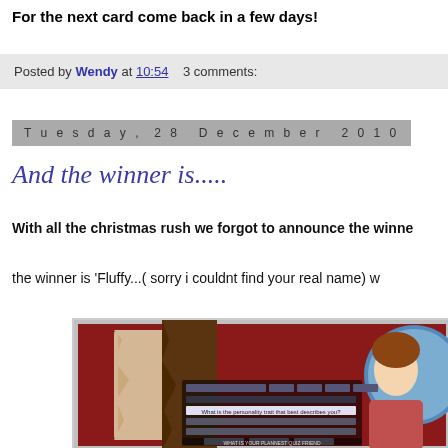For the next card come back in a few days!
Posted by Wendy at 10:54   3 comments:
Tuesday, 28 December 2010
And the winner is.....
With all the christmas rush we forgot to announce the winner...
the winner is 'Fluffy...( sorry i couldnt find your real name) w...
[Figure (screenshot): Screenshot of a webpage or online profile with dark red/maroon background, showing form fields and text, with a decorative illustration of a woman on the right side]